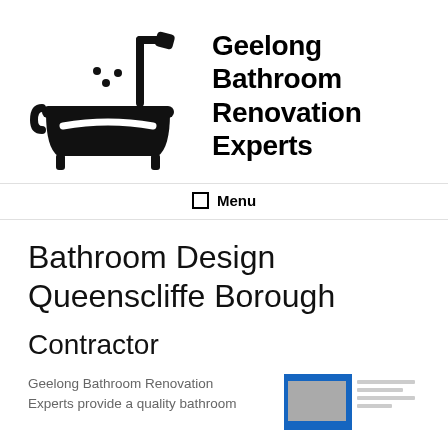[Figure (logo): Geelong Bathroom Renovation Experts logo: black bathtub icon with shower head and water droplets, accompanied by bold company name text]
Geelong Bathroom Renovation Experts
☰ Menu
Bathroom Design Queenscliffe Borough
Contractor
Geelong Bathroom Renovation Experts provide a quality bathroom